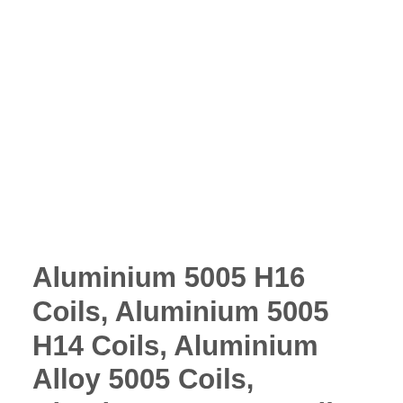Aluminium 5005 H16 Coils, Aluminium 5005 H14 Coils, Aluminium Alloy 5005 Coils, Aluminum A95005 Coils, 5005 Aluminum Coil Stock, Aluminium 5005 Coils Supplier, ASME SB209 Aluminium